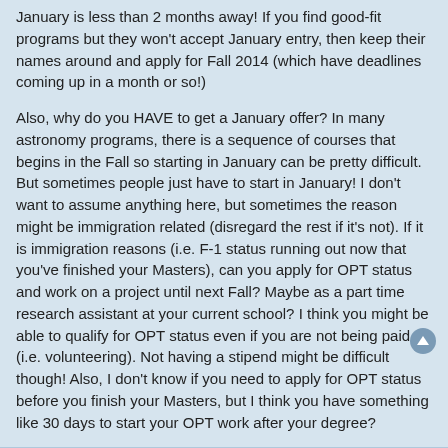January is less than 2 months away! If you find good-fit programs but they won't accept January entry, then keep their names around and apply for Fall 2014 (which have deadlines coming up in a month or so!)
Also, why do you HAVE to get a January offer? In many astronomy programs, there is a sequence of courses that begins in the Fall so starting in January can be pretty difficult. But sometimes people just have to start in January! I don't want to assume anything here, but sometimes the reason might be immigration related (disregard the rest if it's not). If it is immigration reasons (i.e. F-1 status running out now that you've finished your Masters), can you apply for OPT status and work on a project until next Fall? Maybe as a part time research assistant at your current school? I think you might be able to qualify for OPT status even if you are not being paid (i.e. volunteering). Not having a stipend might be difficult though! Also, I don't know if you need to apply for OPT status before you finish your Masters, but I think you have something like 30 days to start your OPT work after your degree?
delsub
Re: easy astronomy programs
Fri Nov 01, 2013 5:19 pm
So, what is the AP del...